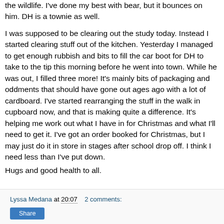the wildlife. I've done my best with bear, but it bounces on him. DH is a townie as well.
I was supposed to be clearing out the study today. Instead I started clearing stuff out of the kitchen. Yesterday I managed to get enough rubbish and bits to fill the car boot for DH to take to the tip this morning before he went into town. While he was out, I filled three more! It's mainly bits of packaging and oddments that should have gone out ages ago with a lot of cardboard. I've started rearranging the stuff in the walk in cupboard now, and that is making quite a difference. It's helping me work out what I have in for Christmas and what I'll need to get it. I've got an order booked for Christmas, but I may just do it in store in stages after school drop off. I think I need less than I've put down.
Hugs and good health to all.
Lyssa Medana at 20:07    2 comments: